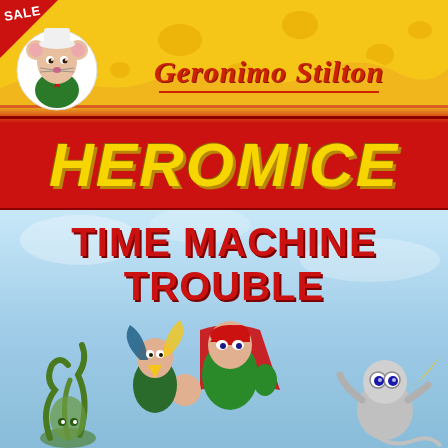[Figure (illustration): Book cover for Geronimo Stilton Heromice: Time Machine Trouble. Top section features a yellow cheese-textured background with a cartoon mouse character (Geronimo Stilton) in the upper left, wearing a suit. The title 'Geronimo Stilton' appears in red italic serif font. A red banner below contains 'HEROMICE' in large bold yellow italic letters. The lower half has a light blue sky background with the title 'TIME MACHINE TROUBLE' in large bold red text. Below are action cartoon characters including hero mice in superhero costumes running/flying, with fantasy scenery. A red 'SALE' triangle badge is in the top-left corner.]